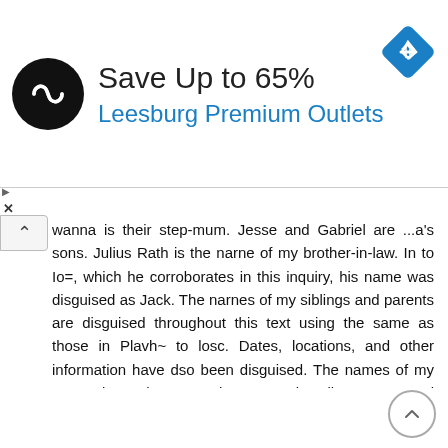[Figure (infographic): Advertisement banner: circular black logo with infinity-like symbol, text 'Save Up to 65%' and 'Leesburg Premium Outlets' in blue, blue diamond navigation icon on right]
wanna is their step-mum. Jesse and Gabriel are ...a's sons. Julius Rath is the narne of my brother-in-law. In to Io=, which he corroborates in this inquiry, his name was disguised as Jack. The narnes of my siblings and parents are disguised throughout this text using the same as those in Plavh~ to losc. Dates, locations, and other information have dso been disguised. The names of my patemal grandparents: Algemon and Emily. My matemal grandparents: William and Winnifrzd. My patemal great-grandparents: Benjamin and Louisa Rose. Their last names are disguised. Jan, Rhea, and Joanne Rowland are my friends in Millbrook near Peterborough. Other friends and colleagues include Marc Silnicki, Catherine Downey, David Neelin, Margaret